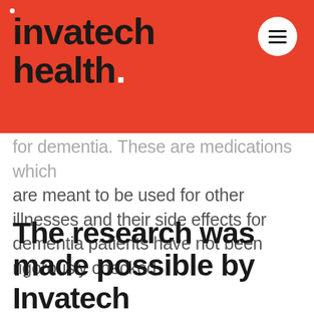invatech health.
for dementia. These are medications which are meant to be used for other illnesses and their side effects for dementia patients have not been rigorously checked.
The research was made possible by Invatech